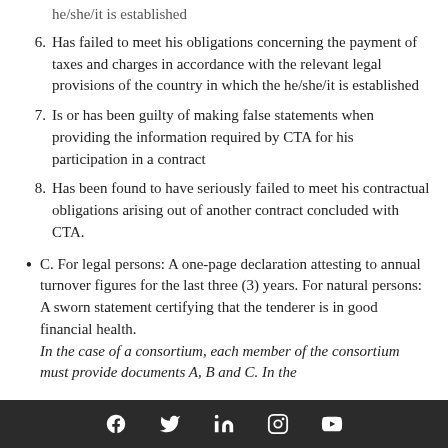he/she/it is established
6. Has failed to meet his obligations concerning the payment of taxes and charges in accordance with the relevant legal provisions of the country in which the he/she/it is established
7. Is or has been guilty of making false statements when providing the information required by CTA for his participation in a contract
8. Has been found to have seriously failed to meet his contractual obligations arising out of another contract concluded with CTA.
C. For legal persons: A one-page declaration attesting to annual turnover figures for the last three (3) years. For natural persons: A sworn statement certifying that the tenderer is in good financial health. In the case of a consortium, each member of the consortium must provide documents A, B and C. In the
social media icons: Facebook, Twitter, LinkedIn, Instagram, YouTube